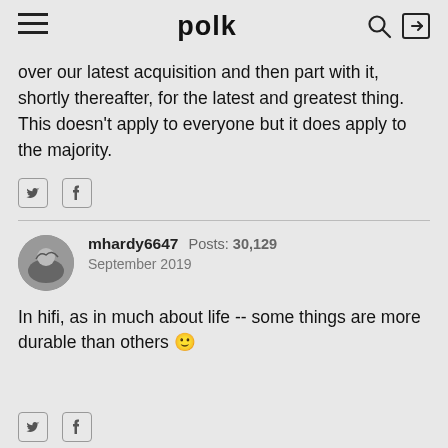polk
over our latest acquisition and then part with it, shortly thereafter, for the latest and greatest thing. This doesn't apply to everyone but it does apply to the majority.
mhardy6647  Posts: 30,129  September 2019
In hifi, as in much about life -- some things are more durable than others 🙂